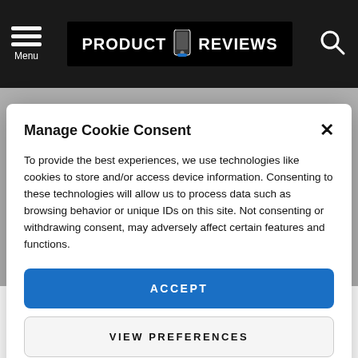PRODUCT REVIEWS — Menu header with search icon
Manage Cookie Consent
To provide the best experiences, we use technologies like cookies to store and/or access device information. Consenting to these technologies will allow us to process data such as browsing behavior or unique IDs on this site. Not consenting or withdrawing consent, may adversely affect certain features and functions.
ACCEPT
VIEW PREFERENCES
Cookie Policy  Privacy Policy
roadmap shows that there could be a long wait for some of the older models to take advantage of newer,